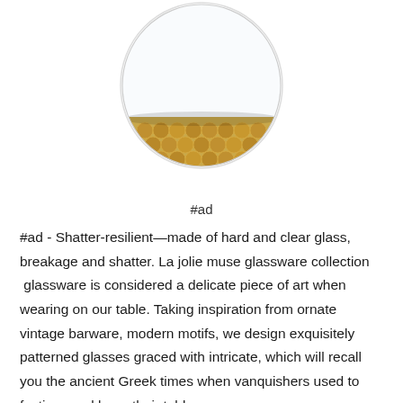[Figure (photo): A round glass vase or cup with a clear glass upper half and a gold honeycomb-patterned lower half, photographed on a white background.]
#ad
#ad - Shatter-resilient—made of hard and clear glass, breakage and shatter. La jolie muse glassware collection  glassware is considered a delicate piece of art when wearing on our table. Taking inspiration from ornate vintage barware, modern motifs, we design exquisitely patterned glasses graced with intricate, which will recall you the ancient Greek times when vanquishers used to festive sparkle on their tables.